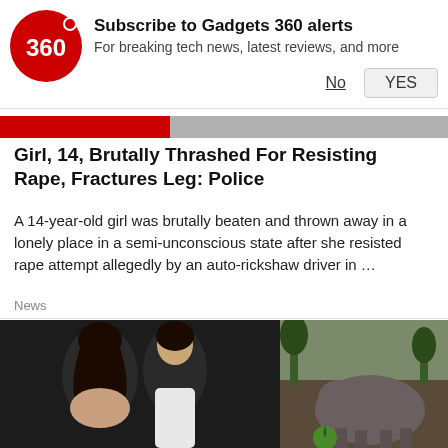[Figure (logo): Gadgets 360 red circular logo with '360' text]
Subscribe to Gadgets 360 alerts
For breaking tech news, latest reviews, and more
No   YES
[Figure (photo): Partial article header image strip with red and grey sections]
Girl, 14, Brutally Thrashed For Resisting Rape, Fractures Leg: Police
A 14-year-old girl was brutally beaten and thrown away in a lonely place in a semi-unconscious state after she resisted rape attempt allegedly by an auto-rickshaw driver in …
News
[Figure (photo): Two side-by-side photos: left shows a couple (man and woman) in an intimate pose against dark background; right shows what appears to be an elephant or animal in an outdoor setting]